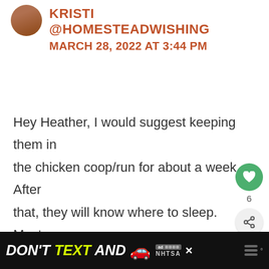[Figure (photo): Circular avatar/profile photo of a woman]
KRISTI
@HOMESTEADWISHING
MARCH 28, 2022 AT 3:44 PM
Hey Heather, I would suggest keeping them in the chicken coop/run for about a week. After that, they will know where to sleep. Most chickens will go in the coop on their course, we have a few we have to pull out of
[Figure (infographic): Green circular like/heart button with count 6, and share button]
[Figure (infographic): What's Next panel showing Easy Gourmet Snack advertisement thumbnail]
[Figure (infographic): Advertisement banner: DON'T TEXT AND [car emoji] with NHTSA logo]